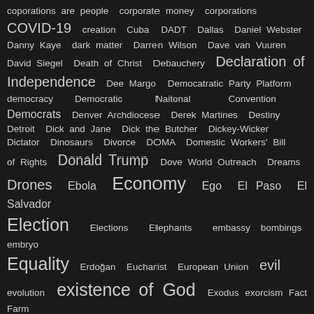coporations are people corporate money corporations COVID-19 creation Cuba DADT Dallas Daniel Webster Danny Kaye dark matter Darren Wilson Dave van Vuuren David Siegel Death of Christ Debauchery Declaration of Independence Dee Margo Democatratic Party Platform democracy Democratic Naitonal Convention Democrats Denver Archdiocese Derek Martines Destiny Detroit Dick and Jane Dick the Butcher Dickey-Wicker Dictator Dinosaurs Divorce DOMA Domestic Workers' Bill of Rights Donald Trump Dove World Outreach Dreams Drones Ebola Economy Ego El Paso El Salvador Election Elections Elephants embassy bombings embryo Equality Erdoğan Eucharist European Union evil evolution existence of God Exodus exorcism Fact Farm Worker Safety Act Farm Workers Fascists Faust fear fear and ignorance Federal Budget Federalism Ferguson Fiction Final Soultion First Amendment First Letter to the Thessalonians FISA Flesh Florida Flu fool forgiveness FOX News France Franics I Fred Deutsch Freedom freedom of religion friendly fire Fundamentalists Gary Cooper gay rights genre-based fiction George W. Bush George Washington ghetto gingrich glenn beck God Good News Gospel Gospel Values Gospels Governor Abbott Governor Pence Governor Walker great Southeast Book Fectival great